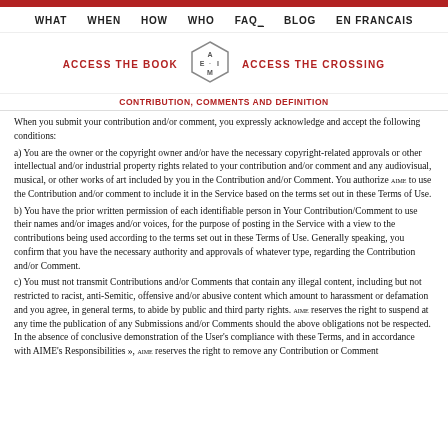WHAT | WHEN | HOW | WHO | FAQ | BLOG | EN FRANCAIS
ACCESS THE BOOK | [AIME logo] | ACCESS THE CROSSING
CONTRIBUTION, COMMENTS AND DEFINITION
When you submit your contribution and/or comment, you expressly acknowledge and accept the following conditions:
a) You are the owner or the copyright owner and/or have the necessary copyright-related approvals or other intellectual and/or industrial property rights related to your contribution and/or comment and any audiovisual, musical, or other works of art included by you in the Contribution and/or Comment. You authorize AIME to use the Contribution and/or comment to include it in the Service based on the terms set out in these Terms of Use.
b) You have the prior written permission of each identifiable person in Your Contribution/Comment to use their names and/or images and/or voices, for the purpose of posting in the Service with a view to the contributions being used according to the terms set out in these Terms of Use. Generally speaking, you confirm that you have the necessary authority and approvals of whatever type, regarding the Contribution and/or Comment.
c) You must not transmit Contributions and/or Comments that contain any illegal content, including but not restricted to racist, anti-Semitic, offensive and/or abusive content which amount to harassment or defamation and you agree, in general terms, to abide by public and third party rights. AIME reserves the right to suspend at any time the publication of any Submissions and/or Comments should the above obligations not be respected. In the absence of conclusive demonstration of the User's compliance with these Terms, and in accordance with AIME's Responsibilities », AIME reserves the right to remove any Contribution or Comment